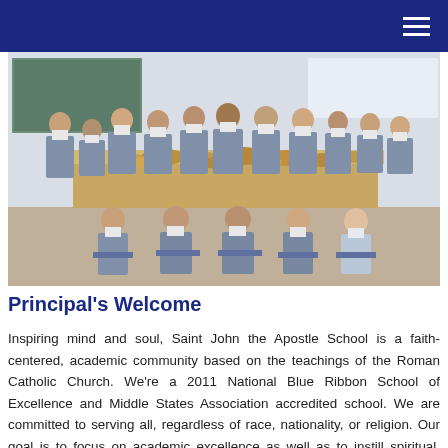[Figure (photo): Group photo of school students in uniforms (grey vests, white shirts, ties) standing and sitting around a table piled with sandwiches/food items in a classroom setting.]
Principal's Welcome
Inspiring mind and soul, Saint John the Apostle School is a faith-centered, academic community based on the teachings of the Roman Catholic Church. We're a 2011 National Blue Ribbon School of Excellence and Middle States Association accredited school. We are committed to serving all, regardless of race, nationality, or religion. Our goal is to focus on academic excellence as well as to instill spiritual, moral, and social values to prepare